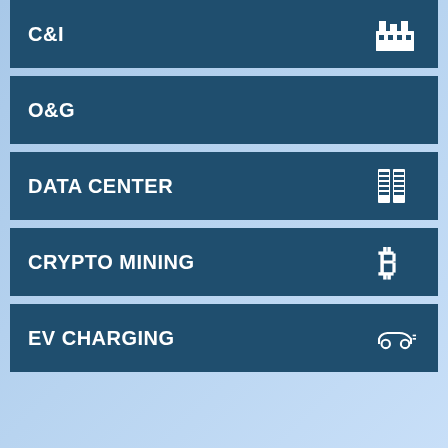C&I
O&G
DATA CENTER
CRYPTO MINING
EV CHARGING